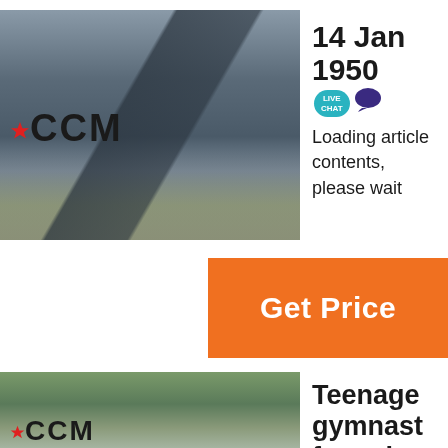[Figure (photo): Industrial mining/crushing facility with CCM logo overlay. Heavy machinery, conveyor belts, and structures visible in an open-pit setting.]
14 Jan 1950
LIVE CHAT
Loading article contents, please wait
Get Price
[Figure (photo): Forested area with CCM logo overlay, partial view at bottom of page.]
Teenage gymnast feared